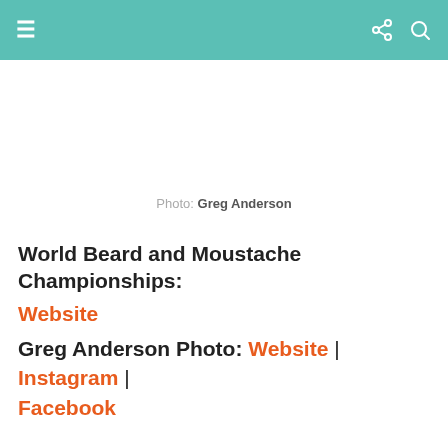≡  (share icon) (search icon)
Photo: Greg Anderson
World Beard and Moustache Championships:
Website
Greg Anderson Photo: Website | Instagram |
Facebook
My Modern Met granted permission to use photos by Greg Anderson.